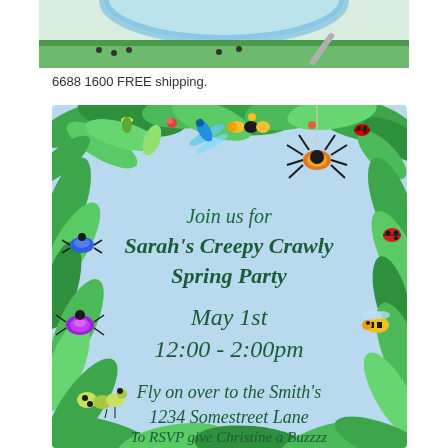[Figure (illustration): Top portion of an illustrated banner/product image with bugs/insects theme, partially cropped at top]
6688 1600 FREE shipping.
[Figure (illustration): Party invitation card with creepy crawly insect/bug theme. Green jungle leaf border with illustrated bugs including spider, beetles, dragonfly, bee, caterpillar. Light blue background center with teal italic text reading: 'Join us for Sarah's Creepy Crawly Spring Party / May 1st / 12:00 - 2:00pm / Fly on over to the Smith's / 1234 Somestreet Lane / To RSVP give Christine a Buzzzz']